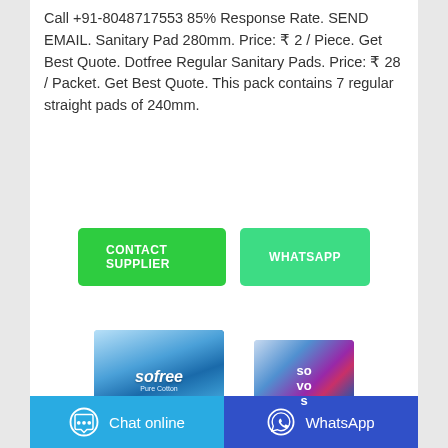Call +91-8048717553 85% Response Rate. SEND EMAIL. Sanitary Pad 280mm. Price: ₹ 2 / Piece. Get Best Quote. Dotfree Regular Sanitary Pads. Price: ₹ 28 / Packet. Get Best Quote. This pack contains 7 regular straight pads of 240mm.
[Figure (screenshot): Two green buttons: CONTACT SUPPLIER and WHATSAPP]
[Figure (photo): Two product images: Sofree Pure Cotton sanitary pads (blue packaging) and another Sovos product (blue/pink packaging)]
[Figure (screenshot): Bottom bar with Chat online button (light blue) and WhatsApp button (dark blue)]